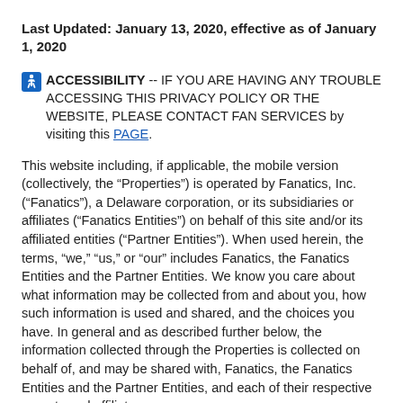Last Updated: January 13, 2020, effective as of January 1, 2020
ACCESSIBILITY -- IF YOU ARE HAVING ANY TROUBLE ACCESSING THIS PRIVACY POLICY OR THE WEBSITE, PLEASE CONTACT FAN SERVICES by visiting this PAGE.
This website including, if applicable, the mobile version (collectively, the “Properties”) is operated by Fanatics, Inc. (“Fanatics”), a Delaware corporation, or its subsidiaries or affiliates (“Fanatics Entities”) on behalf of this site and/or its affiliated entities (“Partner Entities”). When used herein, the terms, “we,” “us,” or “our” includes Fanatics, the Fanatics Entities and the Partner Entities. We know you care about what information may be collected from and about you, how such information is used and shared, and the choices you have. In general and as described further below, the information collected through the Properties is collected on behalf of, and may be shared with, Fanatics, the Fanatics Entities and the Partner Entities, and each of their respective parents and affiliates.